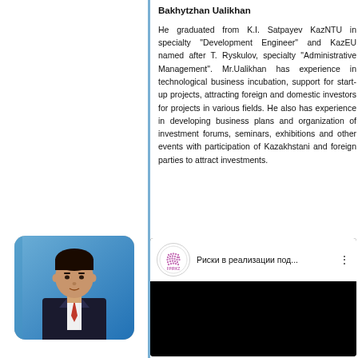Bakhytzhan Ualikhan
He graduated from K.I. Satpayev KazNTU in specialty "Development Engineer" and KazEU named after T. Ryskulov, specialty "Administrative Management". Mr.Ualikhan has experience in technological business incubation, support for start-up projects, attracting foreign and domestic investors for projects in various fields. He also has experience in developing business plans and organization of investment forums, seminars, exhibitions and other events with participation of Kazakhstani and foreign parties to attract investments.
[Figure (photo): Photo of Bakhytzhan Ualikhan, a man in a dark suit with a red tie, posed in front of a Kazakhstani flag background]
[Figure (screenshot): Video embed from FPIP.KZ channel showing title 'Риски в реализации под...' with a dark video thumbnail below]